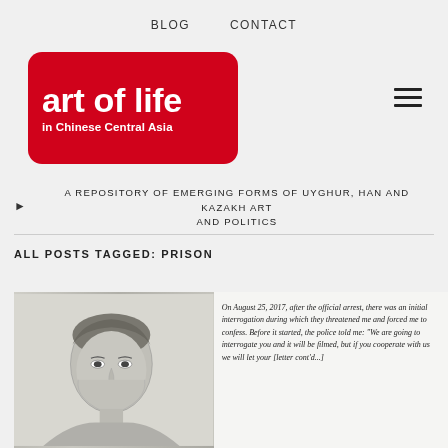BLOG   CONTACT
[Figure (logo): Art of Life in Chinese Central Asia logo — red rounded rectangle with white bold text]
A REPOSITORY OF EMERGING FORMS OF UYGHUR, HAN AND KAZAKH ART AND POLITICS
ALL POSTS TAGGED: PRISON
[Figure (photo): Pencil sketch portrait of a person alongside handwritten text: 'On August 25, 2017, after the official arrest, there was an initial interrogation during which they threatened me and forced me to confess. Before it started, the police told me: "We are going to interrogate you and it will be filmed, but if you cooperate with us we will let your [letter cut off]']